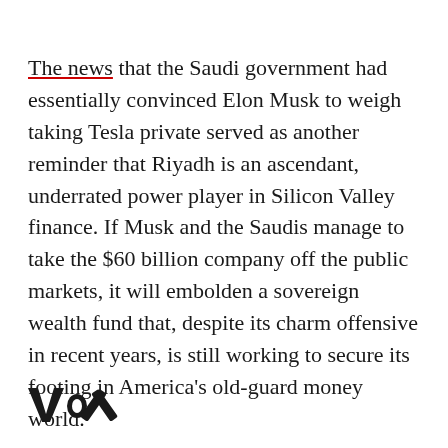The news that the Saudi government had essentially convinced Elon Musk to weigh taking Tesla private served as another reminder that Riyadh is an ascendant, underrated power player in Silicon Valley finance. If Musk and the Saudis manage to take the $60 billion company off the public markets, it will embolden a sovereign wealth fund that, despite its charm offensive in recent years, is still working to secure its footing in America's old-guard money world.
The Saudis have not been quiet about their
[Figure (logo): Vox media logo in bold black text]